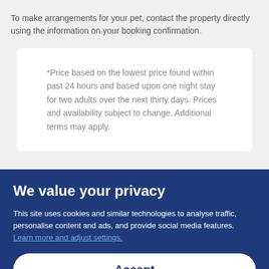To make arrangements for your pet, contact the property directly using the information on your booking confirmation.
*Price based on the lowest price found within past 24 hours and based upon one night stay for two adults over the next thirty days. Prices and availability subject to change. Additional terms may apply.
We value your privacy
This site uses cookies and similar technologies to analyse traffic, personalise content and ads, and provide social media features. Learn more and adjust settings.
Accept